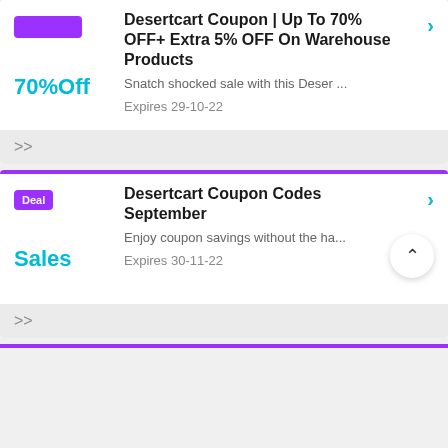[Figure (screenshot): Coupon card 1: Purple badge block, 70%Off in teal, title 'Desertcart Coupon | Up To 70% OFF+ Extra 5% OFF On Warehouse Products', description 'Snatch shocked sale with this Deser...', Expires 29-10-22, teal chevron arrow, grey footer with >>]
[Figure (screenshot): Coupon card 2: Deal badge in purple, Sales in teal, title 'Desertcart Coupon Codes September', description 'Enjoy coupon savings without the ha...', Expires 30-11-22, teal chevron arrow, grey footer with >>, back-to-top button]
[Figure (screenshot): Purple strip at bottom indicating another card below]